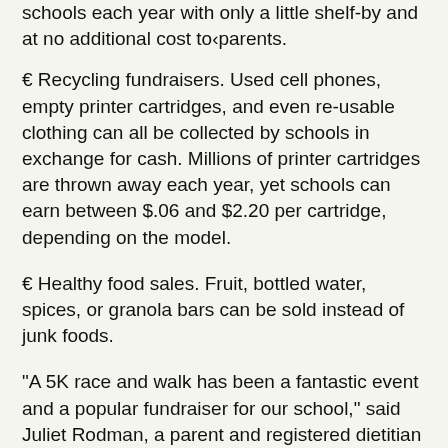schools each year with only a little shelf-by and at no additional cost to parents.
€ Recycling fundraisers. Used cell phones, empty printer cartridges, and even re-usable clothing can all be collected by schools in exchange for cash. Millions of printer cartridges are thrown away each year, yet schools can earn between $.06 and $2.20 per cartridge, depending on the model.
€ Healthy food sales. Fruit, bottled water, spices, or granola bars can be sold instead of junk foods.
"A 5K race and walk has been a fantastic event and a popular fundraiser for our school," said Juliet Rodman, a parent and registered dietitian who helped organize the successful annual event for the past three years at Walt Whitman High School in Bethesda, MD. The school had tried selling chocolate bars as a fundraiser, but the 5K was more successful for fostering school spirit, connections